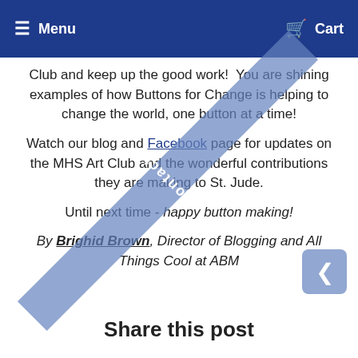Menu   Cart
Club and keep up the good work!  You are shining examples of how Buttons for Change is helping to change the world, one button at a time!
Watch our blog and Facebook page for updates on the MHS Art Club and the wonderful contributions they are making to St. Jude.
Until next time - happy button making!
By Brighid Brown, Director of Blogging and All Things Cool at ABM
Share this post